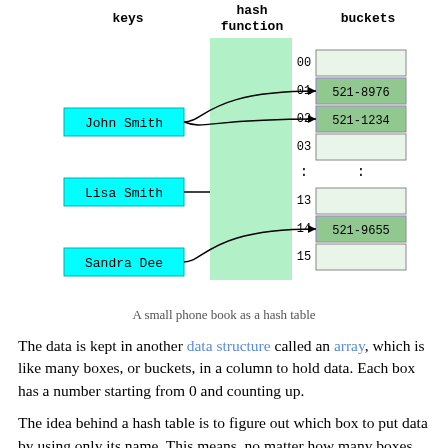[Figure (infographic): Diagram showing a hash table with keys (John Smith, Lisa Smith, Sandra Dee) mapped through a hash function to buckets numbered 00-15. Buckets 01, 02, and 14 contain values 521-8976, 521-1234, and 521-9655 respectively.]
A small phone book as a hash table
The data is kept in another data structure called an array, which is like many boxes, or buckets, in a column to hold data. Each box has a number starting from 0 and counting up.
The idea behind a hash table is to figure out which box to put data by using only its name. This means, no matter how many boxes are filled up, you can always find